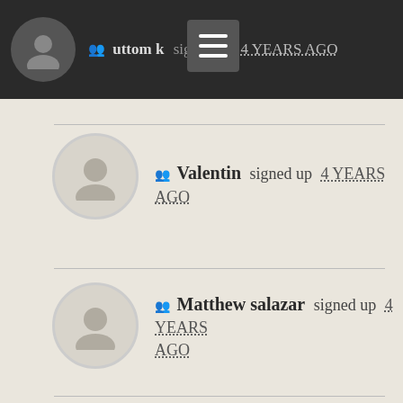uttom k signed up 4 YEARS AGO
Valentin signed up 4 YEARS AGO
Matthew salazar signed up 4 YEARS AGO
maribel delmoral signed up 4 YEARS AGO